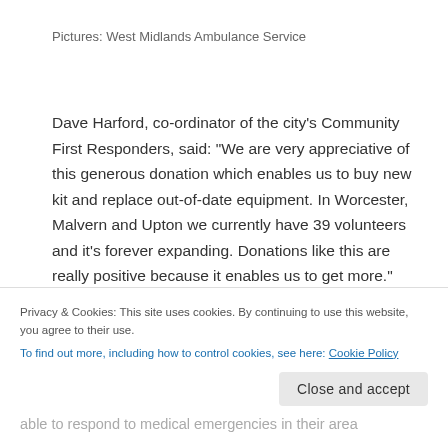Pictures: West Midlands Ambulance Service
Dave Harford, co-ordinator of the city's Community First Responders, said: “We are very appreciative of this generous donation which enables us to buy new kit and replace out-of-date equipment. In Worcester, Malvern and Upton we currently have 39 volunteers and it’s forever expanding. Donations like this are really positive because it enables us to get more.”
Community First Responders are volunteers who are
Privacy & Cookies: This site uses cookies. By continuing to use this website, you agree to their use.
To find out more, including how to control cookies, see here: Cookie Policy
able to respond to medical emergencies in their area